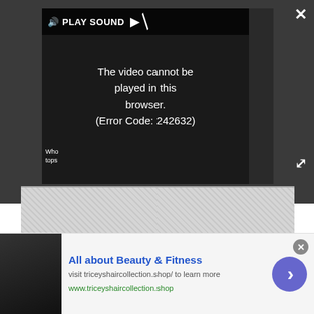[Figure (screenshot): Video player overlay showing error message. Top bar reads 'PLAY SOUND' with speaker and play icons. Center message reads 'The video cannot be played in this browser. (Error Code: 242632)'. Close (X) button top right, expand button bottom right.]
[Figure (photo): Partial photo strip showing textured stone or concrete surface.]
(Image credit: Keltie Knight)
Award-winning host and best-selling author Keltie Knight keeps things simple, chic, and feminine in the wardrobe department. Her wavy hair and West Coast
[Figure (screenshot): Advertisement banner: 'All about Beauty & Fitness' with image of person holding water bottle. URL: www.triceyshaircollection.shop. Arrow button on right.]